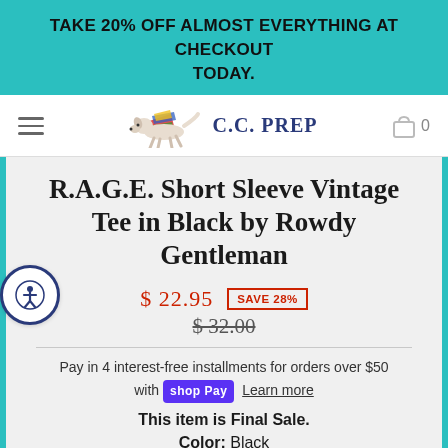TAKE 20% OFF ALMOST EVERYTHING AT CHECKOUT TODAY.
[Figure (logo): C.C. PREP logo with running dog illustration]
R.A.G.E. Short Sleeve Vintage Tee in Black by Rowdy Gentleman
$ 22.95  SAVE 28%  $ 32.00
Pay in 4 interest-free installments for orders over $50 with shop Pay  Learn more
This item is Final Sale.
Color: Black